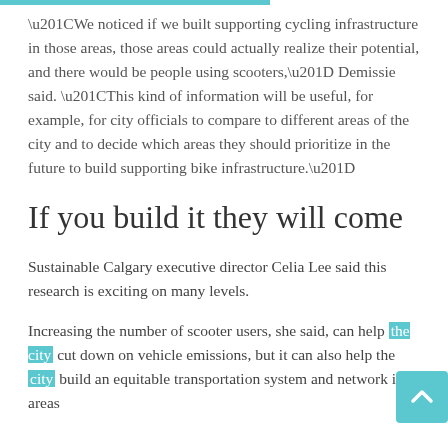“We noticed if we built supporting cycling infrastructure in those areas, those areas could actually realize their potential, and there would be people using scooters,” Demissie said. “This kind of information will be useful, for example, for city officials to compare to different areas of the city and to decide which areas they should prioritize in the future to build supporting bike infrastructure.”
If you build it they will come
Sustainable Calgary executive director Celia Lee said this research is exciting on many levels.
Increasing the number of scooter users, she said, can help the city cut down on vehicle emissions, but it can also help the city build an equitable transportation system and network in areas